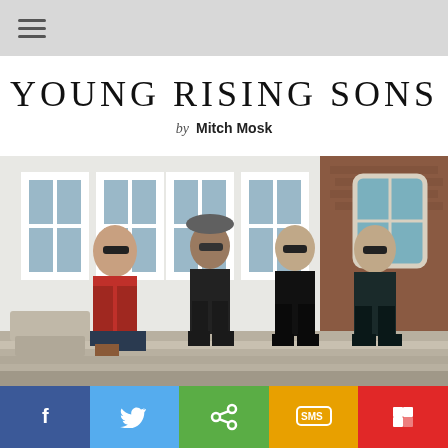☰ (hamburger menu icon)
YOUNG RISING SONS
by Mitch Mosk
[Figure (photo): Four young men sitting on stone steps in front of a building with large white-framed windows and brick facade. Left to right: man in red plaid shirt and sunglasses; man in hat, glasses, and dark jacket; man in black leather jacket and sunglasses; man in dark jacket and sunglasses.]
Social sharing bar: Facebook, Twitter, Share, SMS, Flipboard